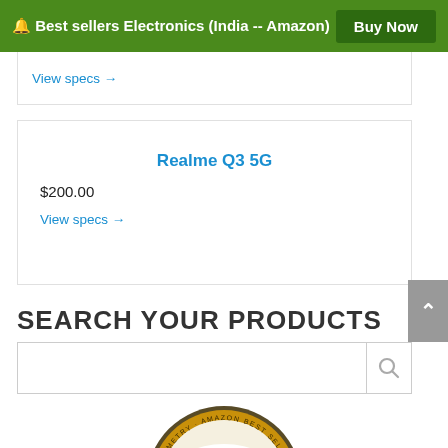🔔 Best sellers Electronics (India -- Amazon)  Buy Now
View specs →
Realme Q3 5G
$200.00
View specs →
SEARCH YOUR PRODUCTS
[Figure (other): Amazon Best Seller badge (circular badge with red ribbon at bottom, showing 'amazon' logo and text 'BEST SELLER')]